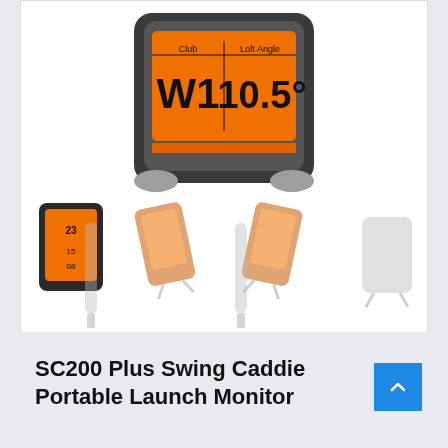[Figure (photo): Product photo gallery of SC200 Plus Swing Caddie Portable Launch Monitor. Top: large front view of the device with orange LCD screen showing 'Club W1' and 'Loft Angle 10.5°' and text 'Portable Launch Monitor'. Below: four thumbnail images showing the device from different angles (front view, tilted left, tilted right, back/side view). Bottom row: two thin profile/side view thumbnails.]
SC200 Plus Swing Caddie Portable Launch Monitor